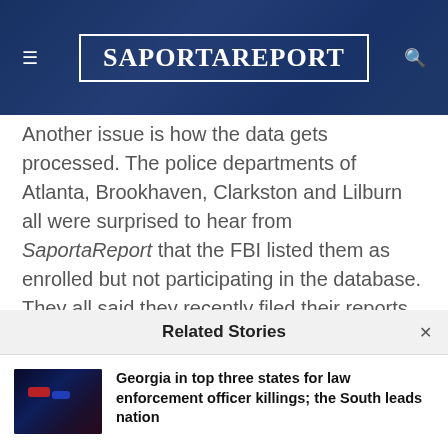SaportaReport
Another issue is how the data gets processed. The police departments of Atlanta, Brookhaven, Clarkston and Lilburn all were surprised to hear from SaportaReport that the FBI listed them as enrolled but not participating in the database. They all said they recently filed their reports.
Atlanta's reports did not include all of the
Related Stories
[Figure (photo): Police car with flashing blue and red lights at night]
Georgia in top three states for law enforcement officer killings; the South leads nation